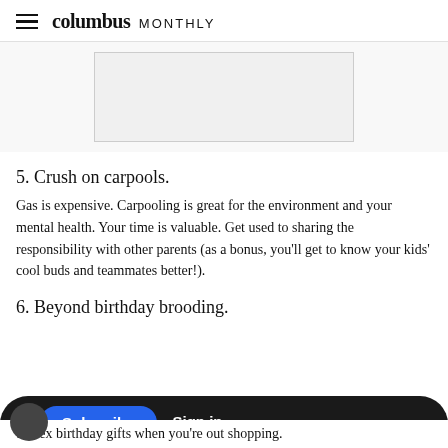columbus MONTHLY
[Figure (other): Advertisement placeholder box (gray rectangle)]
5. Crush on carpools.
Gas is expensive. Carpooling is great for the environment and your mental health. Your time is valuable. Get used to sharing the responsibility with other parents (as a bonus, you'll get to know your kids' cool buds and teammates better!).
6. Beyond birthday brooding.
unisex birthday gifts when you're out shopping.